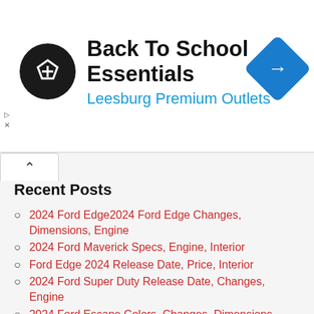[Figure (screenshot): Advertisement banner: Back To School Essentials - Leesburg Premium Outlets with logo and navigation arrow icon]
Recent Posts
2024 Ford Edge2024 Ford Edge Changes, Dimensions, Engine
2024 Ford Maverick Specs, Engine, Interior
Ford Edge 2024 Release Date, Price, Interior
2024 Ford Super Duty Release Date, Changes, Engine
2024 Ford Escape Colors, Changes, Dimensions
Archives